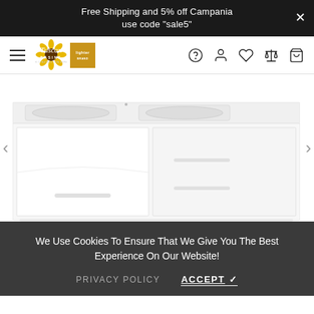Free Shipping and 5% off Campania use code "sale5"
[Figure (logo): Tuscan Basins logo with sunflower icon and Lighter badge]
[Figure (photo): White double-sink bathroom vanity cabinet, wall-mounted, with curved front and horizontal drawer pulls]
We Use Cookies To Ensure That We Give You The Best Experience On Our Website!
PRIVACY POLICY   ACCEPT ✓